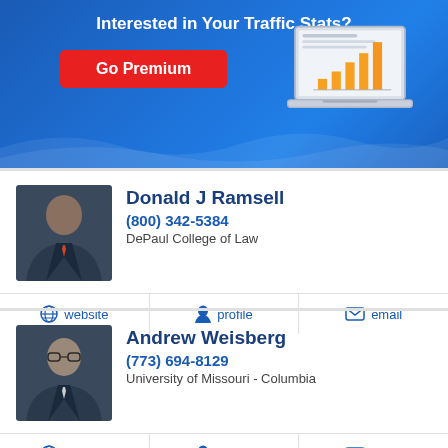[Figure (infographic): Blue banner advertisement: 'Interested in Your Traffic Stats?' with a red 'Go Premium' button and a laptop showing a bar chart graphic]
[Figure (photo): Headshot of attorney Donald J Ramsell in a suit]
Donald J Ramsell
(800) 342-5384
DePaul College of Law
website | profile | email
[Figure (photo): Headshot of attorney Andrew Weisberg in a suit]
Andrew Weisberg
(773) 694-8129
University of Missouri - Columbia
website | profile | email